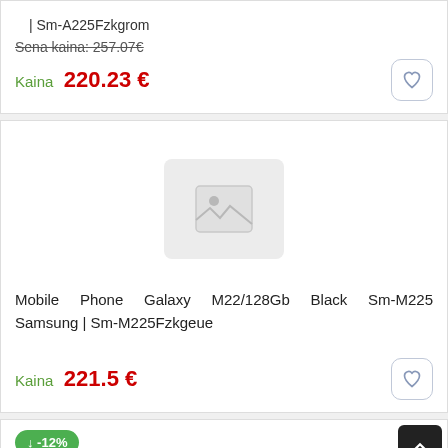| Sm-A225Fzkgrom
Sena kaina: 257.07€
Kaina 220.23 €
[Figure (photo): Placeholder product image (grey box with mountain/photo icon)]
Mobile Phone Galaxy M22/128Gb Black Sm-M225 Samsung | Sm-M225Fzkgeue
Kaina 221.5 €
-12%